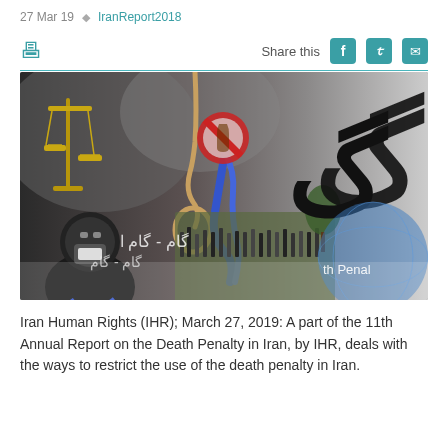27 Mar 19   IranReport2018
[Figure (photo): Composite image related to Iran death penalty report: shows a masked executioner holding a blue rope/noose, scales of justice, Persian text (Gam), a crowd protest scene, a globe with 'th Penal' text, and a no-alcohol symbol.]
Iran Human Rights (IHR); March 27, 2019: A part of the 11th Annual Report on the Death Penalty in Iran, by IHR, deals with the ways to restrict the use of the death penalty in Iran.